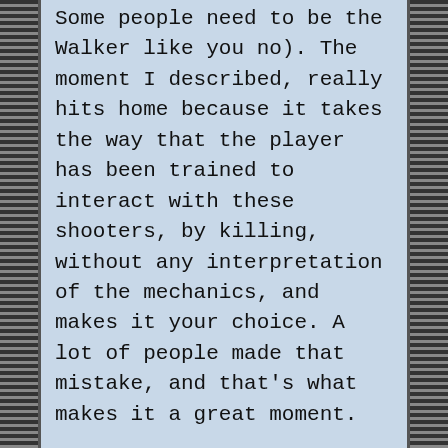Some people need to be the Walker like you no). The moment I described, really hits home because it takes the way that the player has been trained to interact with these shooters, by killing, without any interpretation of the mechanics, and makes it your choice. A lot of people made that mistake, and that's what makes it a great moment.
By contrast, failing a section because I didn't make a mistake written for the character (The WP scene), felt frustrating. You get a game over, have to go through a cutscene, go to the controls, and do it again. "Do it again stupid". And "Do you feel like a hero?". No, I don't. I'm a pacifist, who's familiar with the long history of literature this story is based on. I can do without the bluntness, because it doesn't say anything of merit.